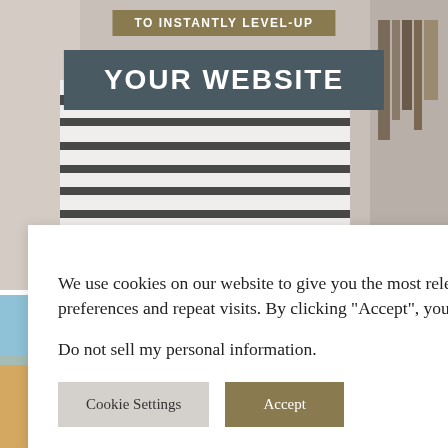[Figure (screenshot): Top image showing a person in a white and black striped shirt, with two overlaid text banners: 'TO INSTANTLY LEVEL-UP' in gold/brown and 'YOUR WEBSITE' in dark slate blue/gray]
TO INSTANTLY LEVEL-UP
YOUR WEBSITE
[Figure (screenshot): Background image showing a person at poolside or beach with a wide-brim straw hat and sunglasses, in a lifestyle/fashion context]
We use cookies on our website to give you the most relevant experience by remembering your preferences and repeat visits. By clicking "Accept", you consent to the use of ALL the cookies.
Do not sell my personal information.